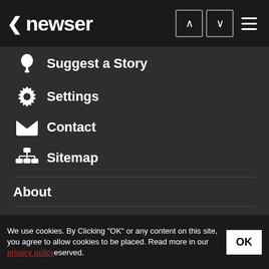< newser
Suggest a Story
Settings
Contact
Sitemap
About
Terms
Privacy
Editorial Policy
We use cookies. By Clicking "OK" or any content on this site, you agree to allow cookies to be placed. Read more in our privacy policy. All rights reserved.